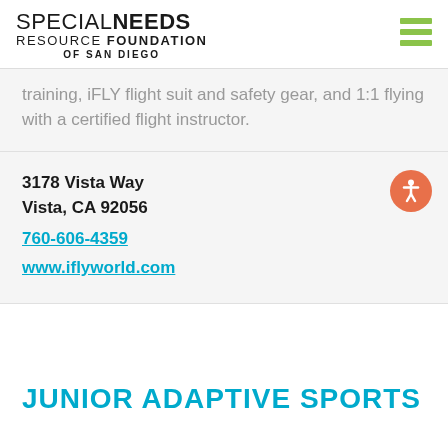SPECIAL NEEDS RESOURCE FOUNDATION OF SAN DIEGO
training, iFLY flight suit and safety gear, and 1:1 flying with a certified flight instructor.
3178 Vista Way
Vista, CA 92056
760-606-4359
www.iflyworld.com
JUNIOR ADAPTIVE SPORTS